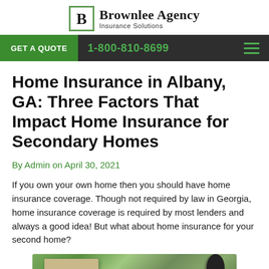[Figure (logo): Brownlee Agency Insurance Solutions logo with stylized B icon]
GET A QUOTE  1-800-810-8699
Home Insurance in Albany, GA: Three Factors That Impact Home Insurance for Secondary Homes
By Admin on April 30, 2021
If you own your own home then you should have home insurance coverage. Though not required by law in Georgia, home insurance coverage is required by most lenders and always a good idea! But what about home insurance for your second home?
[Figure (photo): Photo of a home exterior showing roof, siding, and a lantern light fixture, with trees in background]